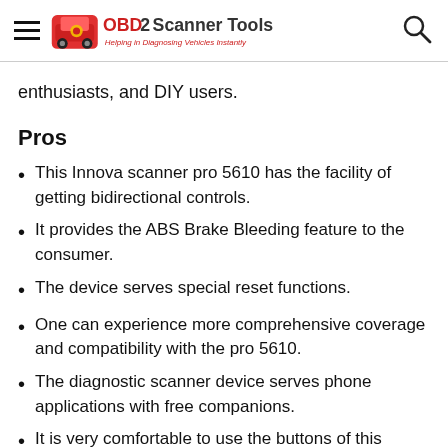OBD2 Scanner Tools - Helping in Diagnosing Vehicles Instantly
enthusiasts, and DIY users.
Pros
This Innova scanner pro 5610 has the facility of getting bidirectional controls.
It provides the ABS Brake Bleeding feature to the consumer.
The device serves special reset functions.
One can experience more comprehensive coverage and compatibility with the pro 5610.
The diagnostic scanner device serves phone applications with free companions.
It is very comfortable to use the buttons of this